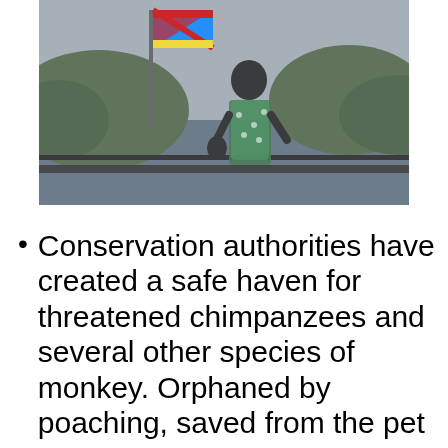[Figure (photo): A person in a colorful dress standing on a boat deck with a flag (Democratic Republic of Congo flag) and green hills and water visible in the background.]
Conservation authorities have created a safe haven for threatened chimpanzees and several other species of monkey. Orphaned by poaching, saved from the pet or